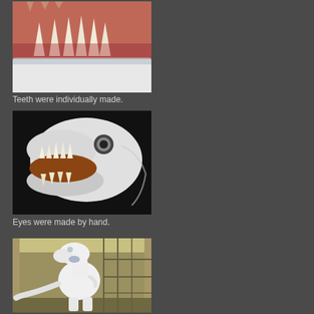[Figure (photo): Close-up photograph of individually made teeth in a dinosaur model's jaw, showing pointed white teeth against reddish gum material]
Teeth were individually made.
[Figure (photo): White dinosaur (T-Rex) head model with open mouth showing teeth, viewed from the side against a dark background]
Eyes were made by hand.
[Figure (photo): Full dinosaur model in a warehouse/hangar setting, white colored T-Rex standing upright surrounded by scaffolding]